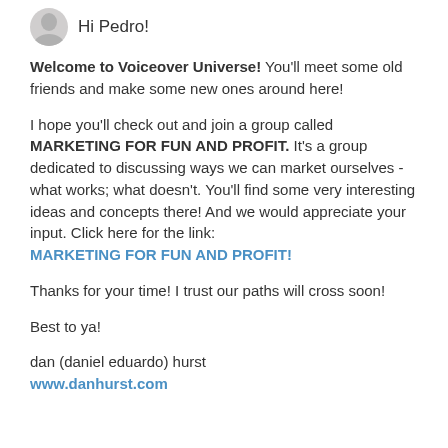Hi Pedro!
Welcome to Voiceover Universe! You'll meet some old friends and make some new ones around here!
I hope you'll check out and join a group called MARKETING FOR FUN AND PROFIT. It's a group dedicated to discussing ways we can market ourselves - what works; what doesn't. You'll find some very interesting ideas and concepts there! And we would appreciate your input. Click here for the link: MARKETING FOR FUN AND PROFIT!
Thanks for your time! I trust our paths will cross soon!
Best to ya!
dan (daniel eduardo) hurst
www.danhurst.com